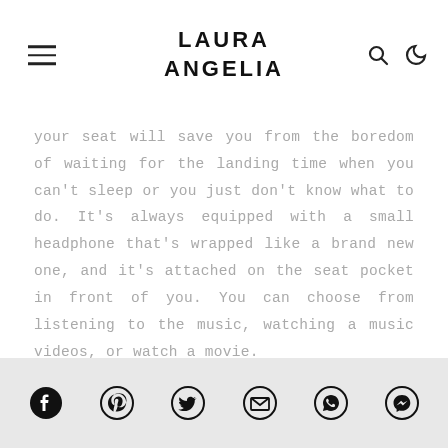LAURA ANGELIA
your seat will save you from the boredom of waiting for the landing time when you can't sleep or you just don't know what to do. It's always equipped with a small headphone that's wrapped like a brand new one, and it's attached on the seat pocket in front of you. You can choose from listening to the music, watching a music videos, or watch a movie.
Social share icons: Facebook, Pinterest, Twitter, Email, WhatsApp, Messenger